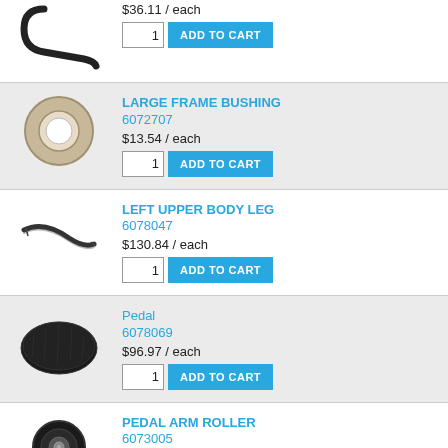[Figure (photo): Curved black metal rod or hook]
$36.11 / each
[Figure (photo): Large frame bushing - round beige/tan washer]
LARGE FRAME BUSHING
6072707
$13.54 / each
[Figure (photo): Left upper body leg - curved black rod]
LEFT UPPER BODY LEG
6078047
$130.84 / each
[Figure (photo): Pedal - black plastic elliptical pedal]
Pedal
6078069
$96.97 / each
[Figure (photo): Pedal arm roller - black wheel with bearing]
PEDAL ARM ROLLER
6073005
$156.11 / each